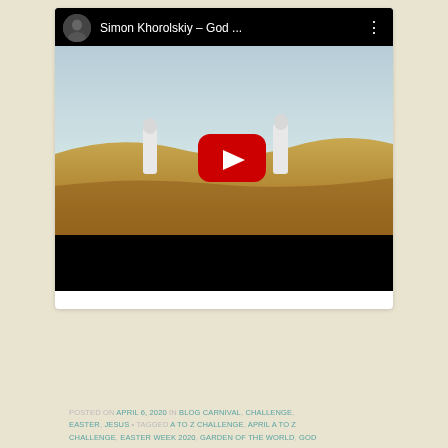[Figure (screenshot): YouTube video embed showing 'Simon Khorolskiy – God ...' with a thumbnail of people in white robes standing on a golden hillside field under a light sky, with a red YouTube play button in the center]
POSTED ON APRIL 6, 2020 IN BLOG CARNIVAL, CHALLENGE, EASTER, JESUS • TAGGED A TO Z CHALLENGE, APRIL A TO Z CHALLENGE, EASTER WEEK 2020, GARDEN OF THE WORLD, GOD